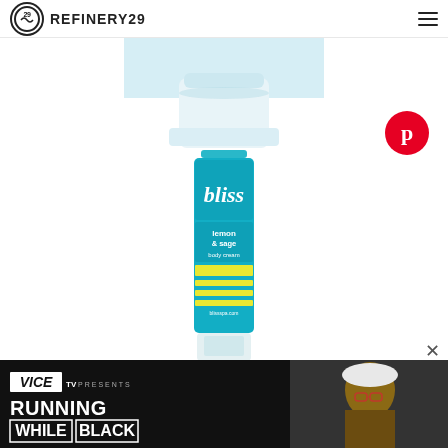REFINERY29
[Figure (photo): Partial view of a light blue/frosted glass round jar product, cut off at top of frame, white background]
[Figure (logo): Pinterest red circular logo with white 'p' icon]
[Figure (photo): Bliss brand 'lemon & sage body cream' tube product in turquoise/cyan color with yellow accent stripes, standing upright on white background]
[Figure (screenshot): VICE TV advertisement banner: 'VICE TV PRESENTS / RUNNING WHILE BLACK' with woman photo on right side, dark background]